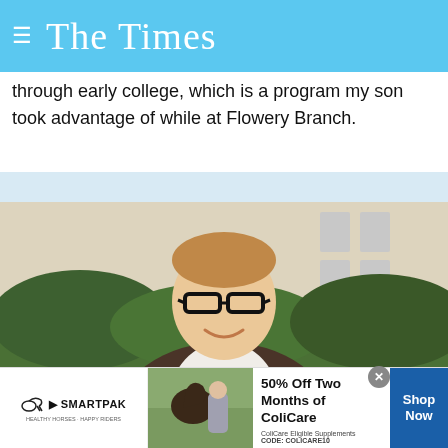The Times
through early college, which is a program my son took advantage of while at Flowery Branch.
[Figure (photo): Portrait photo of a smiling man wearing black-framed glasses and a brown tweed blazer over a white shirt, standing outdoors in front of a light stone building with greenery.]
[Figure (infographic): SmartPak advertisement banner: 50% Off Two Months of ColiCare. ColiCare Eligible Supplements. CODE: COLICARE10. Shop Now button. Features SmartPak logo with horse icon and a photo of a horse with a person.]